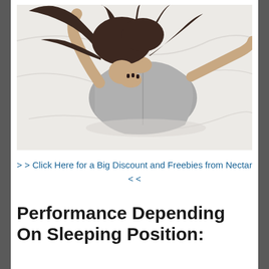[Figure (photo): Overhead view of a woman with dark hair lying face-down on a white bed, wearing a grey t-shirt, with arms raised near her head]
>> Click Here for a Big Discount and Freebies from Nectar <<
Performance Depending On Sleeping Position: